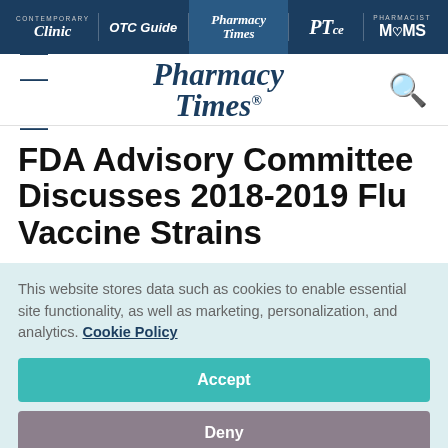Contemporary Clinic | OTC Guide | Pharmacy Times | PTce | Pharmacist MOMS
[Figure (logo): Pharmacy Times logo with hamburger menu and search icon]
FDA Advisory Committee Discusses 2018-2019 Flu Vaccine Strains
This website stores data such as cookies to enable essential site functionality, as well as marketing, personalization, and analytics. Cookie Policy
Accept
Deny